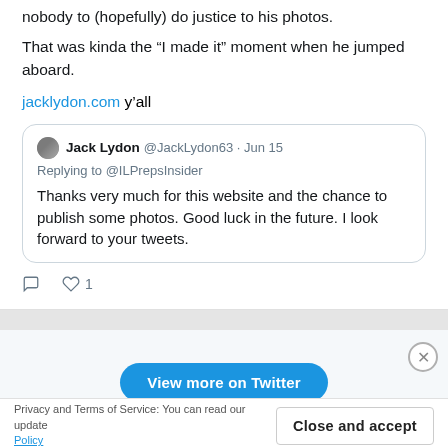nobody to (hopefully) do justice to his photos.
That was kinda the “I made it” moment when he jumped aboard.
jacklydon.com y’all
[Figure (screenshot): Quoted tweet from Jack Lydon (@JackLydon63) on Jun 15, replying to @ILPrepsInsider: Thanks very much for this website and the chance to publish some photos. Good luck in the future. I look forward to your tweets.]
1 like
[Figure (screenshot): View more on Twitter button (blue rounded rectangle)]
Privacy and Terms of Service: You can read our update… Policy
Close and accept